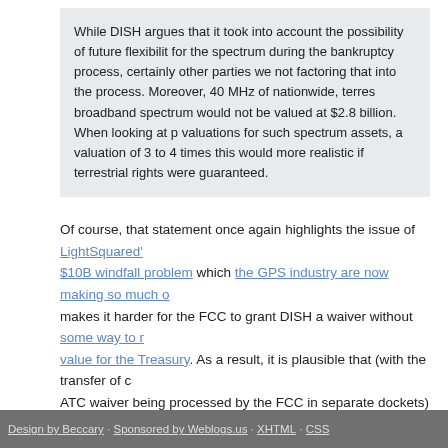While DISH argues that it took into account the possibility of future flexibility for the spectrum during the bankruptcy process, certainly other parties were not factoring that into the process. Moreover, 40 MHz of nationwide, terres broadband spectrum would not be valued at $2.8 billion. When looking at p valuations for such spectrum assets, a valuation of 3 to 4 times this would more realistic if terrestrial rights were guaranteed.
Of course, that statement once again highlights the issue of LightSquared's $10B windfall problem which the GPS industry are now making so much o makes it harder for the FCC to grant DISH a waiver without some way to r value for the Treasury. As a result, it is plausible that (with the transfer of c ATC waiver being processed by the FCC in separate dockets) a ruling on t of control could come ahead of any waiver decision.
UPDATE (11/14): A November 9 ex parte filing from DISH appears to confi FCC is concerned about the “windfall” issue and might separate the transf control ruling from the waiver requests.
Design by Beccary · Sponsored by Weblogs.us · XHTML · CSS